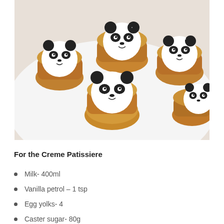[Figure (photo): Panda-shaped cream puff pastries with white cream filling and chocolate panda face decorations, arranged on a white plate]
For the Creme Patissiere
Milk- 400ml
Vanilla petrol – 1 tsp
Egg yolks- 4
Caster sugar- 80g